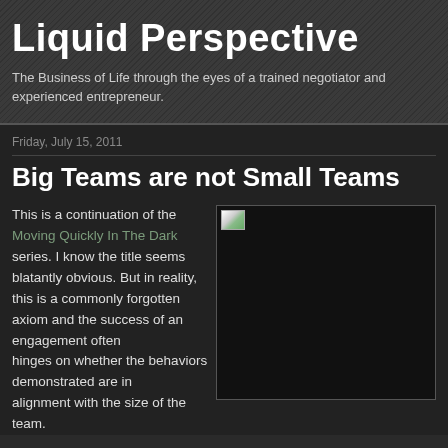Liquid Perspective
The Business of Life through the eyes of a trained negotiator and experienced entrepreneur.
Friday, July 15, 2011
Big Teams are not Small Teams
This is a continuation of the Moving Quickly In The Dark series. I know the title seems blatantly obvious. But in reality, this is a commonly forgotten axiom and the success of an engagement often hinges on whether the behaviors demonstrated are in alignment with the size of the team.
[Figure (photo): Image placeholder (broken image icon) on dark background]